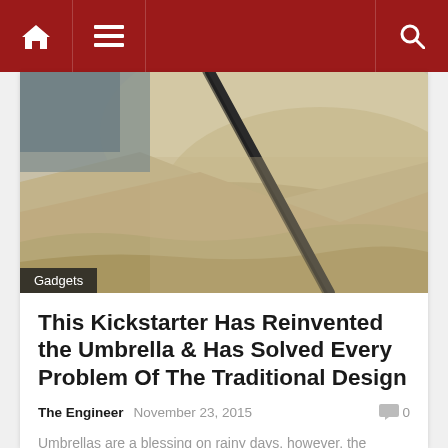Navigation bar with home icon, menu icon, and search icon
[Figure (photo): Close-up photo of sand and what appears to be a dark umbrella handle/spoke against a sandy beach or desert background. A 'Gadgets' category label overlay appears at the bottom left.]
This Kickstarter Has Reinvented the Umbrella & Has Solved Every Problem Of The Traditional Design
The Engineer   November 23, 2015   0
Umbrellas are a blessing on rainy days, however, the conventional device poses a problem; the accumulated water on the...